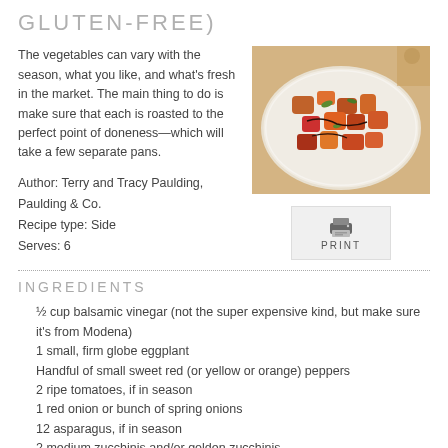GLUTEN-FREE)
The vegetables can vary with the season, what you like, and what's fresh in the market. The main thing to do is make sure that each is roasted to the perfect point of doneness—which will take a few separate pans.
Author: Terry and Tracy Paulding, Paulding & Co.
Recipe type: Side
Serves: 6
[Figure (photo): Plate of roasted mixed vegetables including carrots, peppers, eggplant, and other colorful vegetables]
[Figure (other): Print button with printer icon and PRINT label]
INGREDIENTS
½ cup balsamic vinegar (not the super expensive kind, but make sure it's from Modena)
1 small, firm globe eggplant
Handful of small sweet red (or yellow or orange) peppers
2 ripe tomatoes, if in season
1 red onion or bunch of spring onions
12 asparagus, if in season
2 medium zucchinis and/or golden zucchinis
1 yam
1 Portobello mushroom (optional)
salt & freshly ground pepper